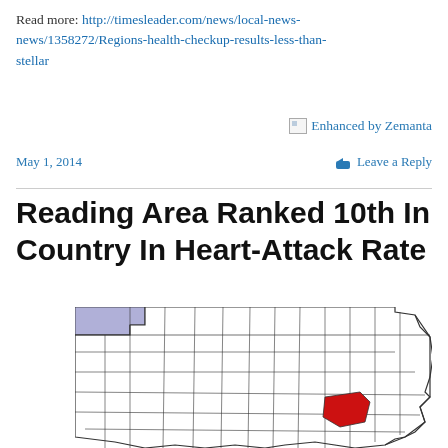Read more: http://timesleader.com/news/local-news-news/1358272/Regions-health-checkup-results-less-than-stellar
[Figure (other): Enhanced by Zemanta badge with broken image icon]
May 1, 2014
Leave a Reply
Reading Area Ranked 10th In Country In Heart-Attack Rate
[Figure (map): Map of Pennsylvania counties with one county highlighted in red (Berks County area, Reading) and one in light blue/purple in the northwest corner]